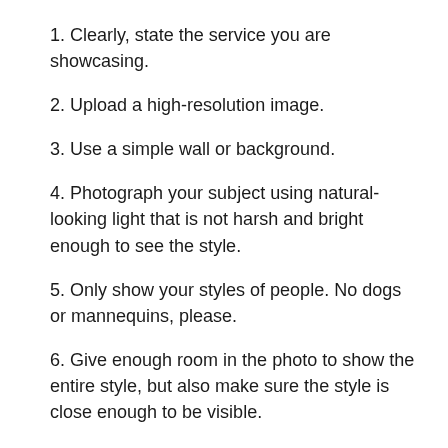1. Clearly, state the service you are showcasing.
2. Upload a high-resolution image.
3. Use a simple wall or background.
4. Photograph your subject using natural-looking light that is not harsh and bright enough to see the style.
5. Only show your styles of people. No dogs or mannequins, please.
6. Give enough room in the photo to show the entire style, but also make sure the style is close enough to be visible.
Don't
1. Do not use Flash, please! Flash creates a bright spot on the subject, creating harsh looking light.